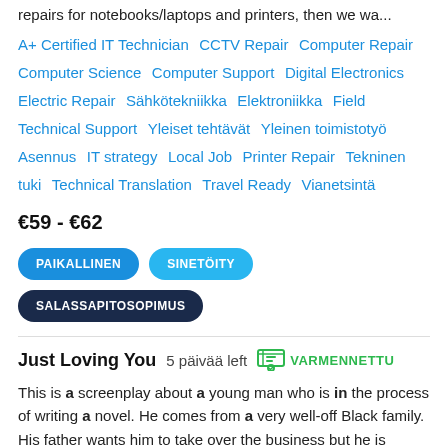repairs for notebooks/laptops and printers, then we wa...
A+ Certified IT Technician  CCTV Repair  Computer Repair  Computer Science  Computer Support  Digital Electronics  Electric Repair  Sähkötekniikka  Elektroniikka  Field Technical Support  Yleiset tehtävät  Yleinen toimistotyö  Asennus  IT strategy  Local Job  Printer Repair  Tekninen tuki  Technical Translation  Travel Ready  Vianetsintä
€59 - €62
PAIKALLINEN  SINETÖITY  SALASSAPITOSOPIMUS
Just Loving You  5 päivää left  VARMENNETTU
This is a screenplay about a young man who is in the process of writing a novel. He comes from a very well-off Black family. His father wants him to take over the business but he is determined to finish his novel. His father agrees to support him for two years in order to...
...kirjoittaminen  Romantiikkakirjoittaminen...